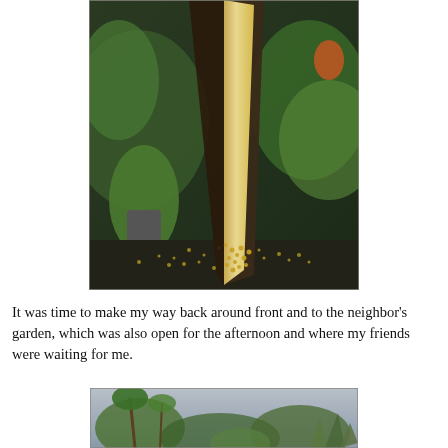[Figure (photo): Close-up photo of a large plant spathe or leaf, pale yellow on the inside, dark on the outside, with small yellow particles/pollen visible at the base. Green foliage visible in background including a potted plant on the left and shrubs on the right.]
It was time to make my way back around front and to the neighbor's garden, which was also open for the afternoon and where my friends were waiting for me.
[Figure (photo): Wide view of a lush garden with tall palm trees and various tropical plants under an overcast sky. Large agave or yucca plants visible in the foreground on the right.]